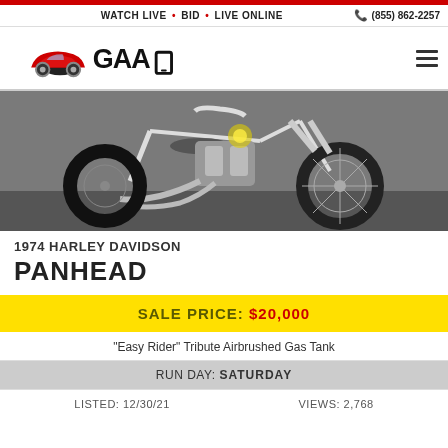WATCH LIVE • BID • LIVE ONLINE   (855) 862-2257
[Figure (logo): GAA Classic Cars logo with red vintage car illustration]
[Figure (photo): 1974 Harley Davidson Panhead chopper motorcycle with chrome engine and wide front wheel, photographed outdoors]
1974 HARLEY DAVIDSON
PANHEAD
SALE PRICE: $20,000
"Easy Rider" Tribute Airbrushed Gas Tank
RUN DAY: SATURDAY
LISTED: 12/30/21   VIEWS: 2,768